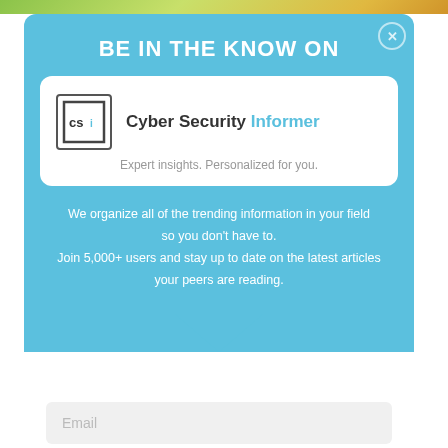BE IN THE KNOW ON
[Figure (logo): CSI logo box with square border]
Cyber Security Informer
Expert insights. Personalized for you.
We organize all of the trending information in your field so you don't have to. Join 5,000+ users and stay up to date on the latest articles your peers are reading.
Email
Sign Up